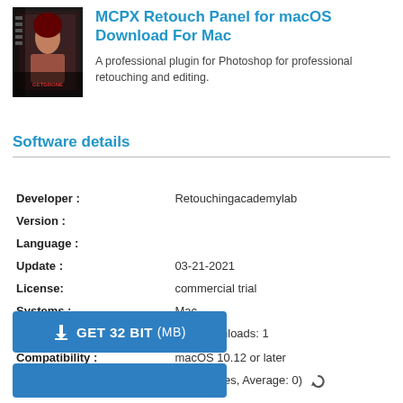[Figure (photo): Product box art for a Photoshop plugin showing a retouched portrait photo]
MCPX Retouch Panel for macOS Download For Mac
A professional plugin for Photoshop for professional retouching and editing.
Software details
| Field | Value |
| --- | --- |
| Developer : | Retouchingacademylab |
| Version : |  |
| Language : |  |
| Update : | 03-21-2021 |
| License: | commercial trial |
| Systems : | Mac |
| Downloads : | Downloads: 1 |
| Compatibility : | macOS 10.12 or later |
| Vote Software : | (0 votes, Average: 0) |
⬇ GET 32 BIT (MB)